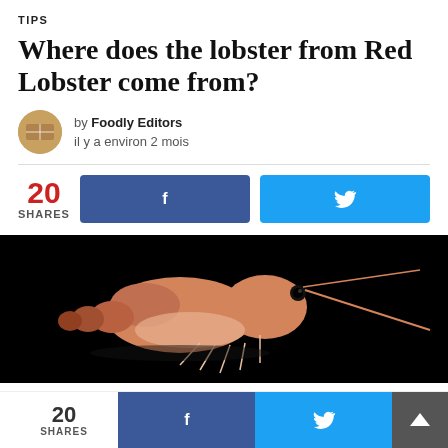TIPS
Where does the lobster from Red Lobster come from?
by Foodly Editors
il y a environ 2 mois
20 SHARES
[Figure (photo): A shrimp or lobster photographed against a black background, showing its orange body and long antennae.]
20 SHARES f (Facebook button) (Twitter bird button) (Up arrow button)